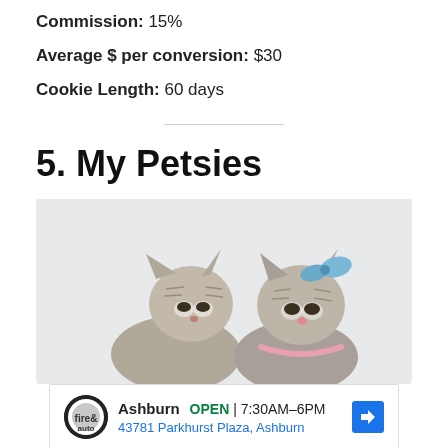Commission: 15%
Average $ per conversion: $30
Cookie Length: 60 days
5. My Petsies
[Figure (photo): Two tabby cats side by side on a light grey background; the cat on the right wears a pink collar and a blue bow on its head]
[Figure (screenshot): Google ad unit showing Firestone Auto Care in Ashburn, marked OPEN, hours 7:30AM-6PM, address 43781 Parkhurst Plaza, Ashburn, with navigation arrow button, and ad close/play icons at bottom left]